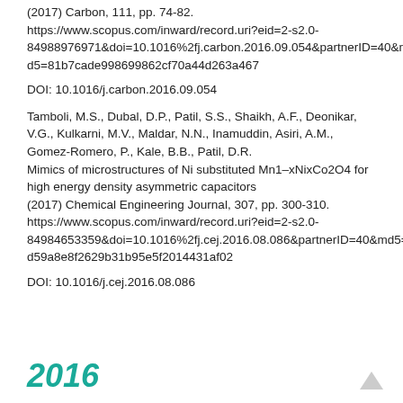(2017) Carbon, 111, pp. 74-82. https://www.scopus.com/inward/record.uri?eid=2-s2.0-84988976971&doi=10.1016%2fj.carbon.2016.09.054&partnerID=40&md5=81b7cade998699862cf70a44d263a467
DOI: 10.1016/j.carbon.2016.09.054
Tamboli, M.S., Dubal, D.P., Patil, S.S., Shaikh, A.F., Deonikar, V.G., Kulkarni, M.V., Maldar, N.N., Inamuddin, Asiri, A.M., Gomez-Romero, P., Kale, B.B., Patil, D.R.
Mimics of microstructures of Ni substituted Mn1–xNixCo2O4 for high energy density asymmetric capacitors
(2017) Chemical Engineering Journal, 307, pp. 300-310.
https://www.scopus.com/inward/record.uri?eid=2-s2.0-84984653359&doi=10.1016%2fj.cej.2016.08.086&partnerID=40&md5=d59a8e8f2629b31b95e5f2014431af02
DOI: 10.1016/j.cej.2016.08.086
2016